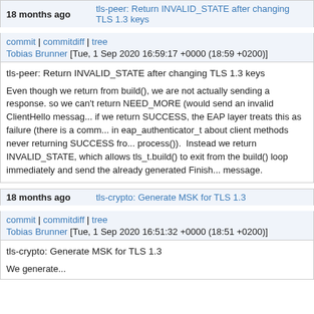18 months ago | tls-peer: Return INVALID_STATE after changing TLS 1.3 keys
commit | commitdiff | tree
Tobias Brunner [Tue, 1 Sep 2020 16:59:17 +0000 (18:59 +0200)]
tls-peer: Return INVALID_STATE after changing TLS 1.3 keys

Even though we return from build(), we are not actually sending a response. so we can't return NEED_MORE (would send an invalid ClientHello message), if we return SUCCESS, the EAP layer treats this as failure (there is a comment in eap_authenticator_t about client methods never returning SUCCESS from process()).  Instead we return INVALID_STATE, which allows tls_t.build() to exit from the build() loop immediately and send the already generated Finished message.
18 months ago | tls-crypto: Generate MSK for TLS 1.3
commit | commitdiff | tree
Tobias Brunner [Tue, 1 Sep 2020 16:51:32 +0000 (18:51 +0200)]
tls-crypto: Generate MSK for TLS 1.3

We generate...